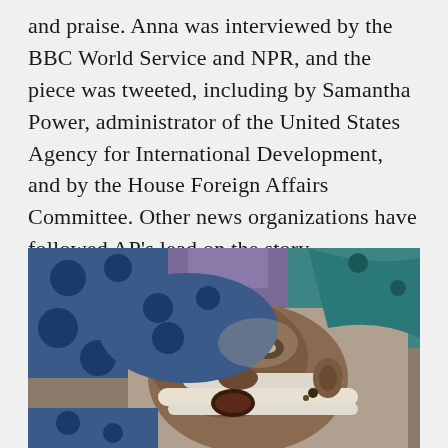and praise. Anna was interviewed by the BBC World Service and NPR, and the piece was tweeted, including by Samantha Power, administrator of the United States Agency for International Development, and by the House Foreign Affairs Committee. Other news organizations have followed AP's lead on the story. https://aplink.news/3hq
[Figure (photo): A close-up photo of a severely malnourished child lying down, wearing a white medical feeding tube/mask around the mouth and nose, with colorful patterned fabric visible in the background.]